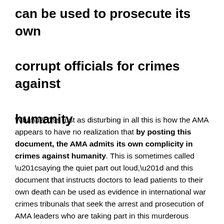can be used to prosecute its own corrupt officials for crimes against humanity
What's just as disturbing in all this is how the AMA appears to have no realization that by posting this document, the AMA admits its own complicity in crimes against humanity. This is sometimes called “saying the quiet part out loud,” and this document that instructs doctors to lead patients to their own death can be used as evidence in international war crimes tribunals that seek the arrest and prosecution of AMA leaders who are taking part in this murderous scheme.